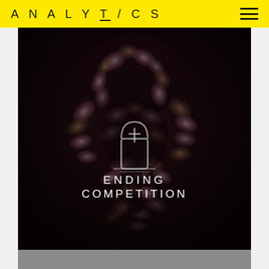ANALYTICS
[Figure (photo): Dark moody photo of dried pink hydrangea flowers forming a skull-like shape against a nearly black background, with a tombstone icon and text 'ENDING COMPETITION' overlaid in white centered on the image]
ENDING COMPETITION